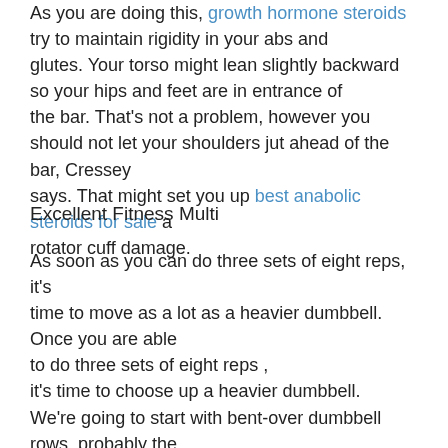As you are doing this, growth hormone steroids try to maintain rigidity in your abs and glutes. Your torso might lean slightly backward so your hips and feet are in entrance of the bar. That's not a problem, however you should not let your shoulders jut ahead of the bar, Cressey says. That might set you up best anabolic steroids for sale a rotator cuff damage.
Excellent Fitness Multi
As soon as you can do three sets of eight reps, it's time to move as a lot as a heavier dumbbell. Once you are able to do three sets of eight reps , it's time to choose up a heavier dumbbell. We're going to start with bent-over dumbbell rows, probably the most basic of again exercises, in case you're ranging from ABSOLUTELY square one. This full-body resistance band workout will target all of your main muscle groups wherever. The main muscles concerned embrace the big back muscle tissue , dianabol